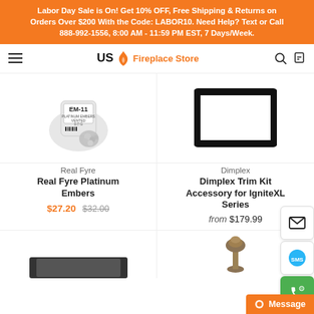Labor Day Sale is On! Get 10% OFF, Free Shipping & Returns on Orders Over $200 With the Code: LABOR10. Need Help? Text or Call 888-992-1556, 8:00 AM - 11:59 PM EST, 7 Days/Week.
US Fireplace Store
[Figure (photo): EM-11 Platinum Embers bag with small white/grey ember rocks]
[Figure (photo): Dimplex Trim Kit rectangular black frame accessory]
Real Fyre
Real Fyre Platinum Embers
$27.20 $32.00
Dimplex
Dimplex Trim Kit Accessory for IgniteXL Series
from $179.99
[Figure (photo): Partial product image bottom left]
[Figure (photo): Partial product image bottom right with decorative knob]